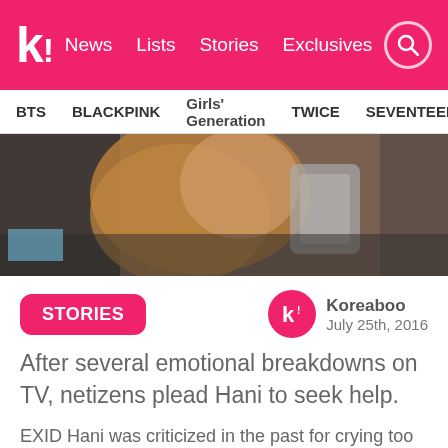k! News  Lists  Stories  Exclusives
BTS  BLACKPINK  Girls' Generation  TWICE  SEVENTEEN
[Figure (photo): Blurred photo of a person with long brown hair holding a phone, wearing dark clothing]
STORIES
Koreaboo
July 25th, 2016
After several emotional breakdowns on TV, netizens plead Hani to seek help.
EXID Hani was criticized in the past for crying too much on programs, resulting in viewers feeling uncomfortable. Yet she continued to have emotional attacks, most recently on an